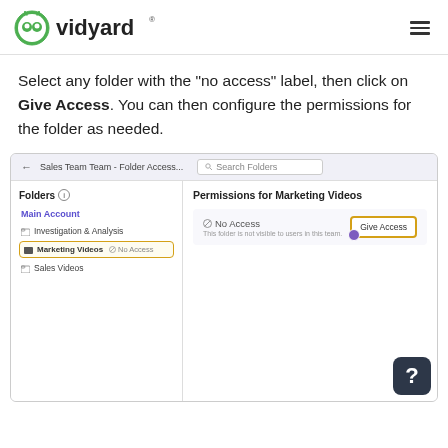Vidyard logo and navigation
Select any folder with the "no access" label, then click on Give Access. You can then configure the permissions for the folder as needed.
[Figure (screenshot): Vidyard interface screenshot showing Folder Access panel with Sales Team Team - Folder Access breadcrumb, Folders list on the left including Main Account, Investigation & Analysis, Marketing Videos (highlighted with No Access label), and Sales Videos. On the right, Permissions for Marketing Videos panel shows No Access status with a Give Access button highlighted in yellow border.]